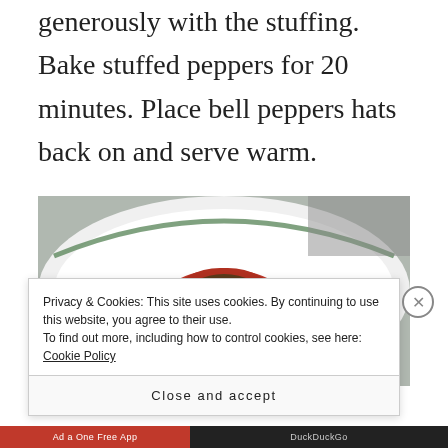generously with the stuffing. Bake stuffed peppers for 20 minutes. Place bell peppers hats back on and serve warm.
[Figure (photo): A red stuffed bell pepper served on a white plate with a green rim, photographed from above.]
Privacy & Cookies: This site uses cookies. By continuing to use this website, you agree to their use.
To find out more, including how to control cookies, see here: Cookie Policy
Close and accept